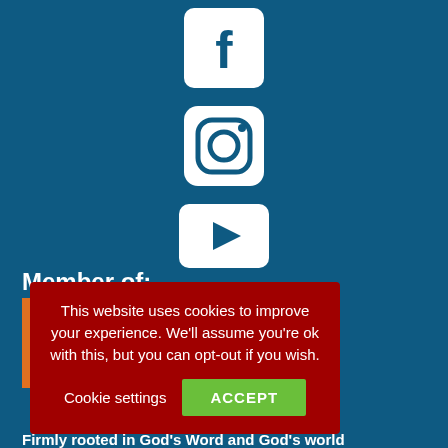[Figure (illustration): Facebook icon - white Facebook 'f' logo on blue rounded square background]
[Figure (illustration): Instagram icon - white camera outline logo on blue rounded square background]
[Figure (illustration): YouTube icon - white play button on blue rounded rectangle background]
Member of:
This website uses cookies to improve your experience. We'll assume you're ok with this, but you can opt-out if you wish.
Cookie settings
ACCEPT
Firmly rooted in God's Word and God's world